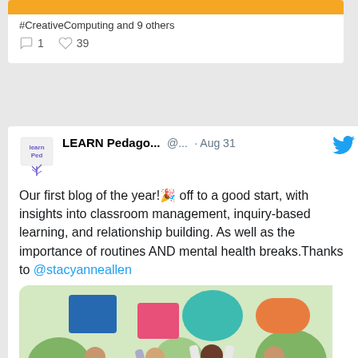#CreativeComputing and 9 others
1  39
LEARN Pedago... @... · Aug 31
Our first blog of the year!🎉 off to a good start, with insights into classroom management, inquiry-based learning, and relationship building. As well as the importance of routines AND mental health breaks.Thanks to @stacyanneallen
[Figure (photo): Four people standing outdoors on grass, each holding up a colorful speech bubble shape above their heads: blue square, pink square, teal circle, orange rounded rectangle.]
Stacy A... @stacya... · Aug 31